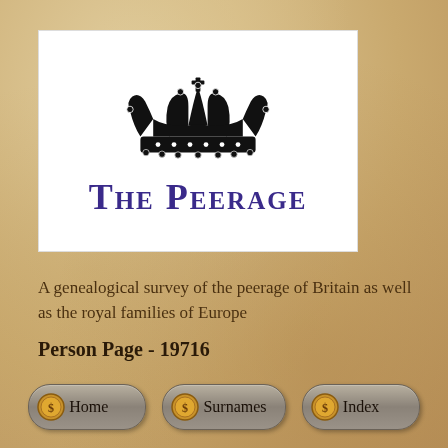[Figure (logo): The Peerage logo: black heraldic crown above text 'THE PEERAGE' in purple small-caps on white background]
A genealogical survey of the peerage of Britain as well as the royal families of Europe
Person Page - 19716
[Figure (other): Navigation buttons: Home, Surnames, Index — styled as rounded grey pill buttons with golden coin icons]
Home  Surnames  Index